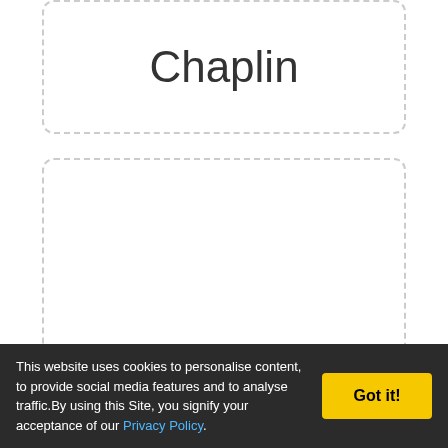Chaplin
65. Totalitarianism is patriotism institutionalized. Steve Allen
This website uses cookies to personalise content, to provide social media features and to analyse traffic.By using this Site, you signify your acceptance of our Privacy Policy.
Got it!